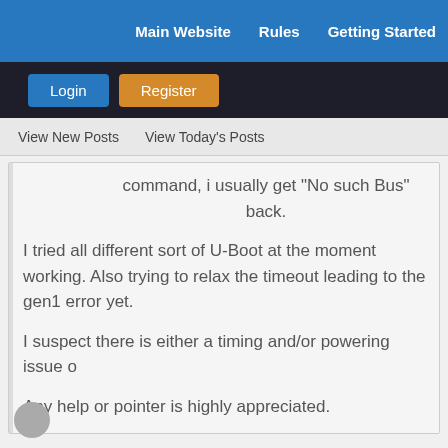Main Website   Rules   Getting Started
Login   Register
View New Posts   View Today's Posts
command, i usually get "No such Bus" back.
I tried all different sort of U-Boot at the moment working. Also trying to relax the timeout leading to the gen1 error yet.
I suspect there is either a timing and/or powering issue o
Any help or pointer is highly appreciated.
Were you ever able to resolve this? Recently started getting the